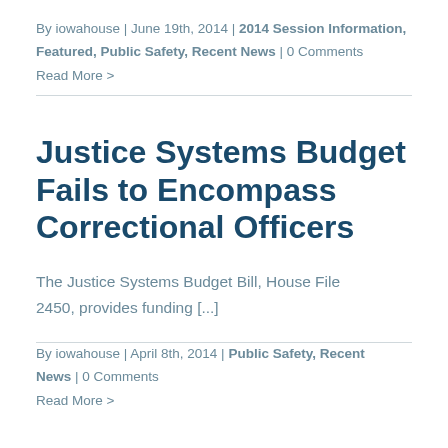By iowahouse | June 19th, 2014 | 2014 Session Information, Featured, Public Safety, Recent News | 0 Comments
Read More >
Justice Systems Budget Fails to Encompass Correctional Officers
The Justice Systems Budget Bill, House File 2450, provides funding [...]
By iowahouse | April 8th, 2014 | Public Safety, Recent News | 0 Comments
Read More >